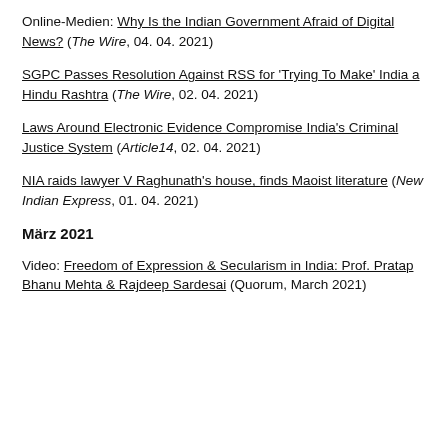Online-Medien: Why Is the Indian Government Afraid of Digital News? (The Wire, 04. 04. 2021)
SGPC Passes Resolution Against RSS for 'Trying To Make' India a Hindu Rashtra (The Wire, 02. 04. 2021)
Laws Around Electronic Evidence Compromise India's Criminal Justice System (Article14, 02. 04. 2021)
NIA raids lawyer V Raghunath's house, finds Maoist literature (New Indian Express, 01. 04. 2021)
März 2021
Video: Freedom of Expression & Secularism in India: Prof. Pratap Bhanu Mehta & Rajdeep Sardesai (Quorum, March 2021)